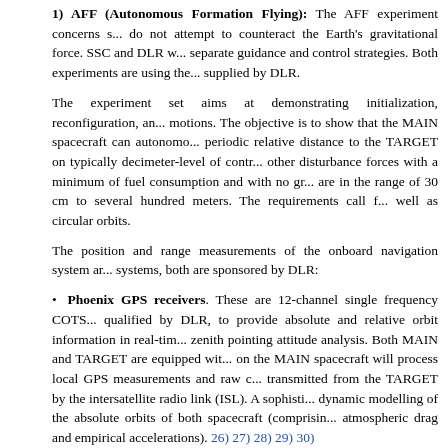1) AFF (Autonomous Formation Flying): The AFF experiment concerns s... do not attempt to counteract the Earth's gravitational force. SSC and DLR w... separate guidance and control strategies. Both experiments are using the... supplied by DLR.
The experiment set aims at demonstrating initialization, reconfiguration, an... motions. The objective is to show that the MAIN spacecraft can autonomo... periodic relative distance to the TARGET on typically decimeter-level of contr... other disturbance forces with a minimum of fuel consumption and with no gr... are in the range of 30 cm to several hundred meters. The requirements call f... well as circular orbits.
The position and range measurements of the onboard navigation system ar... systems, both are sponsored by DLR:
Phoenix GPS receivers. These are 12-channel single frequency COTS... qualified by DLR, to provide absolute and relative orbit information in real-tim... zenith pointing attitude analysis. Both MAIN and TARGET are equipped wit... on the MAIN spacecraft will process local GPS measurements and raw c... transmitted from the TARGET by the intersatellite radio link (ISL). A sophisti... dynamic modelling of the absolute orbits of both spacecraft (comprisin... atmospheric drag and empirical accelerations). 26) 27) 28) 29) 30)
Figure 9: Illustration of the Phoenix receiver board (image credit: DLR)
The Phoenix GPS receivers offers single-frequency Coarse/Acquisition (C/A... aided with a priori trajectory information to safely acquire GPS signals eve...